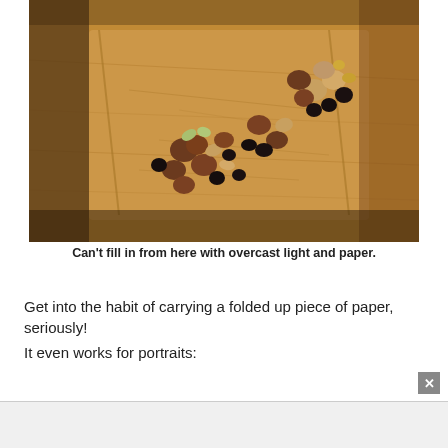[Figure (photo): Photo of mixed nuts and dried fruits arranged on a wooden cutting board, shot from above at an angle. The nuts include almonds, pistachios, hazelnuts and raisins/dried berries arranged in clusters on a light wooden surface with visible knife marks.]
Can't fill in from here with overcast light and paper.
Get into the habit of carrying a folded up piece of paper, seriously!
It even works for portraits: